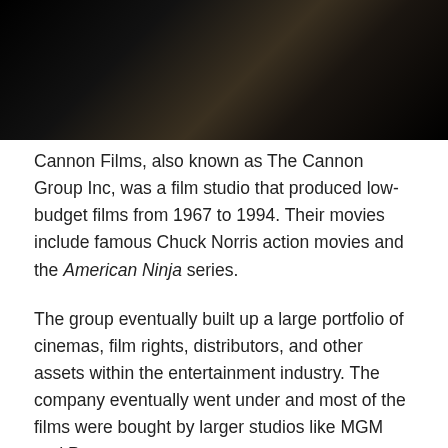[Figure (photo): Dark photograph, mostly black with a faint warm-toned texture or object visible in the upper portion]
Cannon Films, also known as The Cannon Group Inc, was a film studio that produced low-budget films from 1967 to 1994. Their movies include famous Chuck Norris action movies and the American Ninja series.
The group eventually built up a large portfolio of cinemas, film rights, distributors, and other assets within the entertainment industry. The company eventually went under and most of the films were bought by larger studios like MGM and Paramount.
Notable Cannon Films
The Love Rebellion (1967)